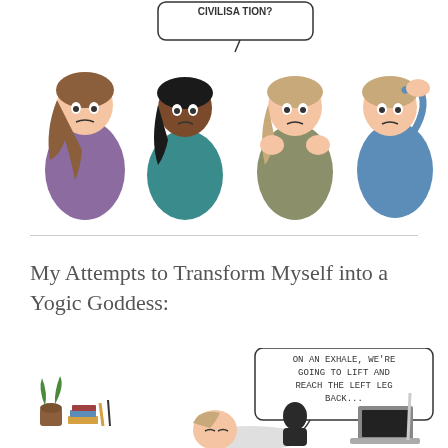[Figure (illustration): Comic illustration showing four cartoon women with worried/distressed expressions looking upward. A speech bubble reads 'CIVILISATION?' above them. The women have different hair colors and clothing.]
My Attempts to Transform Myself into a Yogic Goddess:
[Figure (illustration): Comic illustration showing a yoga class scene. A speech bubble reads 'ON AN EXHALE, WE'RE GOING TO LIFT AND REACH THE LEFT LEG BACK...' A person is lying on a yoga mat with a laptop/book nearby, and there is a small plant and some books in the background.]